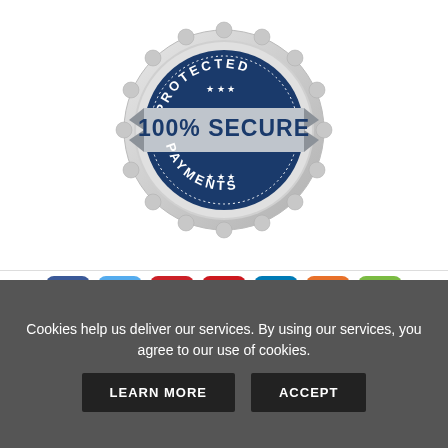[Figure (illustration): A silver scallop-edged badge/seal with a dark navy blue circle interior. Text 'PROTECTED' arcs along the top inside the circle, '100% SECURE' appears in large bold white letters on a navy banner across the middle, and 'PAYMENTS' arcs along the bottom. Three stars appear above and below the main text. A silver ribbon-like banner wraps behind the badge.]
[Figure (infographic): A row of seven social media icon buttons: Facebook (blue), Twitter (light blue), Pinterest (red), YouTube (red with play icon), LinkedIn (blue), RSS feed (orange), and Email/envelope (green).]
All Products    Categories    Site Map
Cookies help us deliver our services. By using our services, you agree to our use of cookies.
LEARN MORE    ACCEPT